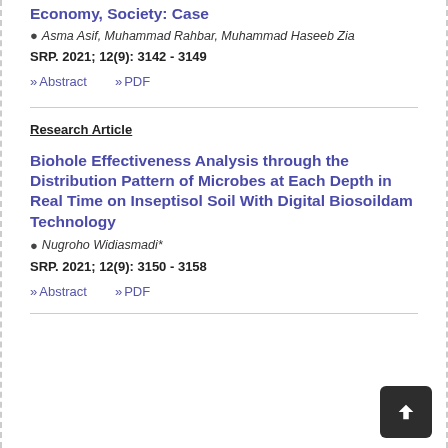Economy, Society: Case
Asma Asif, Muhammad Rahbar, Muhammad Haseeb Zia
SRP. 2021; 12(9): 3142 - 3149
>> Abstract   >> PDF
Research Article
Biohole Effectiveness Analysis through the Distribution Pattern of Microbes at Each Depth in Real Time on Inseptisol Soil With Digital Biosoildam Technology
Nugroho Widiasmadi*
SRP. 2021; 12(9): 3150 - 3158
>> Abstract   >> PDF